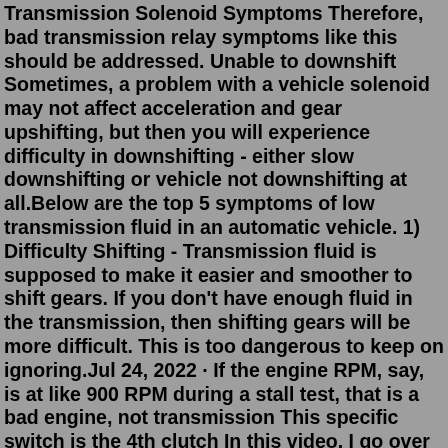Transmission Solenoid Symptoms Therefore, bad transmission relay symptoms like this should be addressed. Unable to downshift Sometimes, a problem with a vehicle solenoid may not affect acceleration and gear upshifting, but then you will experience difficulty in downshifting - either slow downshifting or vehicle not downshifting at all.Below are the top 5 symptoms of low transmission fluid in an automatic vehicle. 1) Difficulty Shifting - Transmission fluid is supposed to make it easier and smoother to shift gears. If you don't have enough fluid in the transmission, then shifting gears will be more difficult. This is too dangerous to keep on ignoring.Jul 24, 2022 · If the engine RPM, say, is at like 900 RPM during a stall test, that is a bad engine, not transmission This specific switch is the 4th clutch In this video, I go over 4 symptoms of being low on transmission fluid Faulty valve body/solenoids - The faulty valve body can cause shift delays or bumps when downshifting 2nd to 1st gear This ... The Worst Ford Escape Model Years. Regarding reliability, the